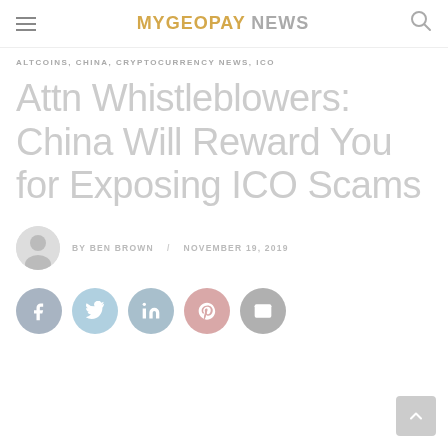MYGEOPAY NEWS
ALTCOINS, CHINA, CRYPTOCURRENCY NEWS, ICO
Attn Whistleblowers: China Will Reward You for Exposing ICO Scams
BY BEN BROWN  —  NOVEMBER 19, 2019
[Figure (other): Social share buttons: Facebook, Twitter, LinkedIn, Pinterest, Email]